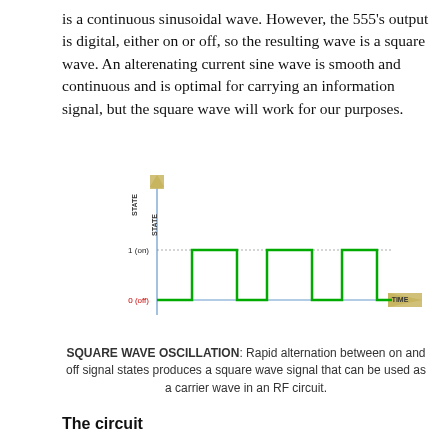is a continuous sinusoidal wave. However, the 555's output is digital, either on or off, so the resulting wave is a square wave. An alterenating current sine wave is smooth and continuous and is optimal for carrying an information signal, but the square wave will work for our purposes.
[Figure (continuous-plot): Square wave oscillation diagram showing a digital signal alternating between 0 (off) and 1 (on) states over time. Y-axis labeled STATE with upward arrow, X-axis labeled TIME with rightward arrow. The square wave is drawn in green, showing 3 complete pulses. Y-axis labels: '1 (on)' in black and '0 (off)' in red.]
SQUARE WAVE OSCILLATION: Rapid alternation between on and off signal states produces a square wave signal that can be used as a carrier wave in an RF circuit.
The circuit